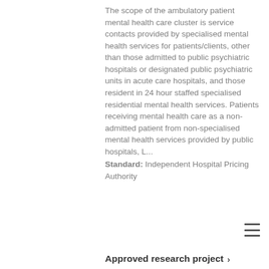The scope of the ambulatory patient mental health care cluster is service contacts provided by specialised mental health services for patients/clients, other than those admitted to public psychiatric hospitals or designated public psychiatric units in acute care hospitals, and those resident in 24 hour staffed specialised residential mental health services. Patients receiving mental health care as a non-admitted patient from non-specialised mental health services provided by public hospitals, L... Standard: Independent Hospital Pricing Authority
Approved research project ›